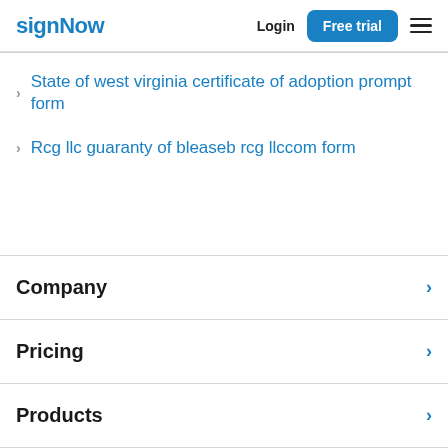signNow | Login | Free trial
State of west virginia certificate of adoption prompt form
Rcg llc guaranty of bleaseb rcg llccom form
Company
Pricing
Products